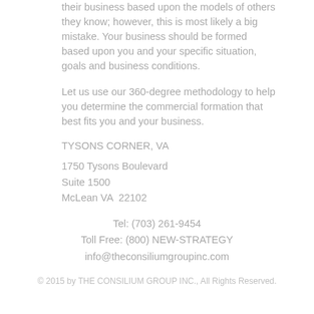their business based upon the models of others they know; however, this is most likely a big mistake. Your business should be formed based upon you and your specific situation, goals and business conditions.
Let us use our 360-degree methodology to help you determine the commercial formation that best fits you and your business.
TYSONS CORNER, VA
1750 Tysons Boulevard
Suite 1500
McLean VA  22102
Tel: (703) 261-9454
Toll Free: (800) NEW-STRATEGY
info@theconsiliumgroupinc.com
© 2015 by THE CONSILIUM GROUP INC., All Rights Reserved.